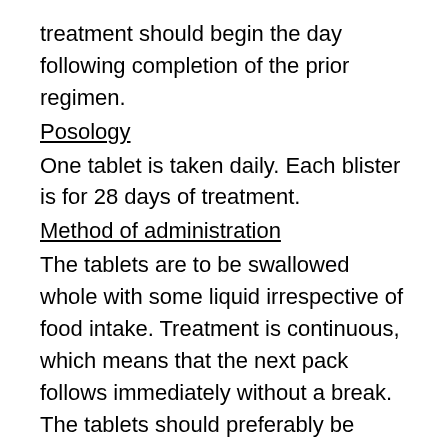treatment should begin the day following completion of the prior regimen.
Posology
One tablet is taken daily. Each blister is for 28 days of treatment.
Method of administration
The tablets are to be swallowed whole with some liquid irrespective of food intake. Treatment is continuous, which means that the next pack follows immediately without a break. The tablets should preferably be taken at the same time every day. If a tablet is forgotten it should be taken as soon as possible. If more than 24 hours have elapsed no extra tablet needs to be taken. If several tablets are forgotten, vaginal bleeding may occur.